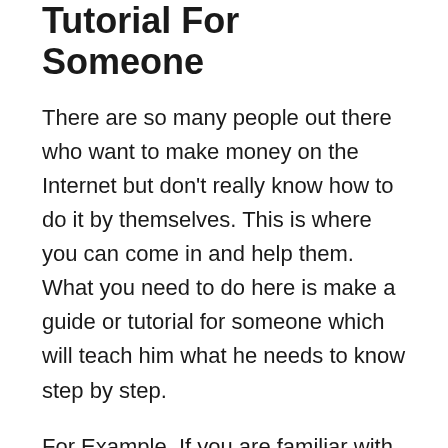Tutorial For Someone
There are so many people out there who want to make money on the Internet but don’t really know how to do it by themselves. This is where you can come in and help them. What you need to do here is make a guide or tutorial for someone which will teach him what he needs to know step by step.
For Example, If you are familiar with Photoshop then you could write tutorials about different features of photoshop that beginners might be unaware of all it requires from your side would be knowledgeable